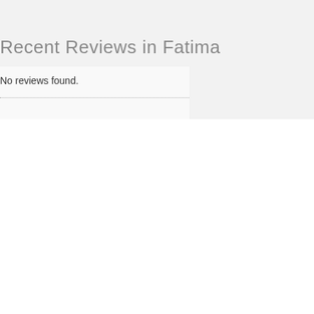Recent Reviews in Fatima
No reviews found.